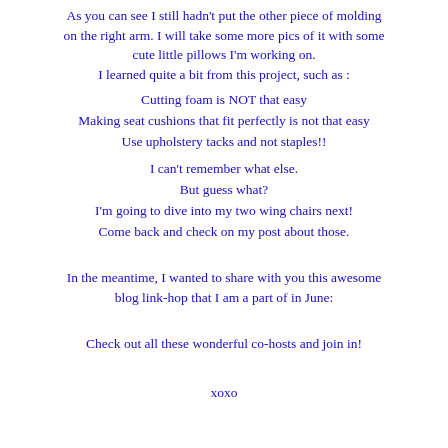As you can see I still hadn't put the other piece of molding on the right arm. I will take some more pics of it with some cute little pillows I'm working on.
I learned quite a bit from this project, such as :
Cutting foam is NOT that easy
Making seat cushions that fit perfectly is not that easy
Use upholstery tacks and not staples!!
I can't remember what else.
But guess what?
I'm going to dive into my two wing chairs next!
Come back and check on my post about those.
In the meantime, I wanted to share with you this awesome blog link-hop that I am a part of in June:
Check out all these wonderful co-hosts and join in!
xoxo